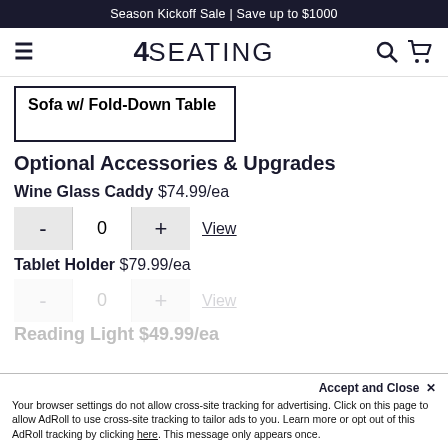Season Kickoff Sale | Save up to $1000
[Figure (logo): 4Seating logo with hamburger menu, search and cart icons]
Sofa w/ Fold-Down Table
Optional Accessories & Upgrades
Wine Glass Caddy $74.99/ea
- 0 + View
Tablet Holder $79.99/ea
- 0 + View
Reading Light $49.99/ea
Accept and Close ×
Your browser settings do not allow cross-site tracking for advertising. Click on this page to allow AdRoll to use cross-site tracking to tailor ads to you. Learn more or opt out of this AdRoll tracking by clicking here. This message only appears once.